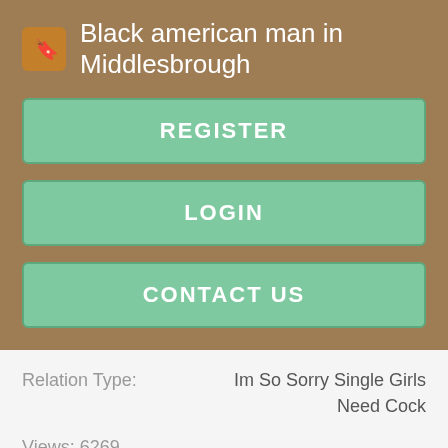Black american man in Middlesbrough
REGISTER
LOGIN
CONTACT US
Relation Type: Im So Sorry Single Girls Need Cock
Views: 6269
[Figure (screenshot): Social sharing buttons: Reddit, Tweet, Pin it, and a green list icon]